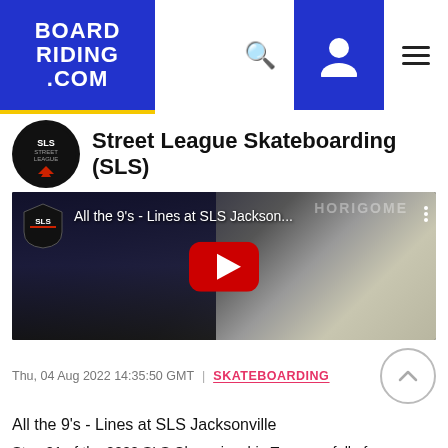BOARD RIDING .COM
Street League Skateboarding (SLS)
[Figure (screenshot): YouTube video thumbnail showing SLS skateboarding event at Jacksonville with skate park, crowd, and play button overlay. Title: All the 9's - Lines at SLS Jackson...]
Thu, 04 Aug 2022 14:35:50 GMT | SKATEBOARDING
All the 9's - Lines at SLS Jacksonville
Stop 01 of the 2022 SLS Championship Tour was full of